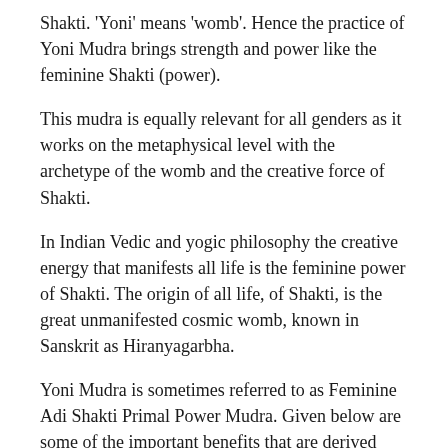Shakti. 'Yoni' means 'womb'. Hence the practice of Yoni Mudra brings strength and power like the feminine Shakti (power).
This mudra is equally relevant for all genders as it works on the metaphysical level with the archetype of the womb and the creative force of Shakti.
In Indian Vedic and yogic philosophy the creative energy that manifests all life is the feminine power of Shakti. The origin of all life, of Shakti, is the great unmanifested cosmic womb, known in Sanskrit as Hiranyagarbha.
Yoni Mudra is sometimes referred to as Feminine Adi Shakti Primal Power Mudra. Given below are some of the important benefits that are derived when one practices Yoni Mudra.
1.  Connection to the Earth: The practice of Yoni Mudra